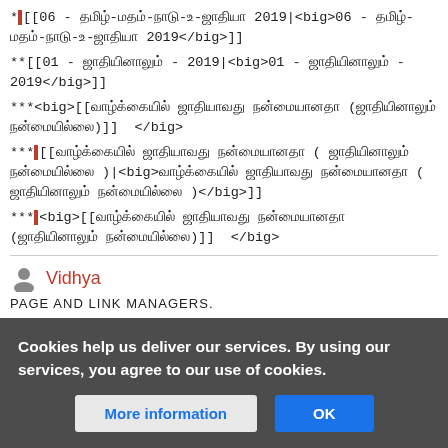*[[06 - தமிழ்-மதம்-நாடு-உ-ஜாதியா 2019|<big>06 - தமிழ்-மதம்-நாடு-உ-ஜாதியா 2019</big>]]
**[[01 - ஜாதியினாலும் - 2019|<big>01 - ஜாதியினாலும் - 2019</big>]]
***<big>[[வாழ்க்கையில் ஜாதியாவது நன்மையானதா (ஜாதியினாலும் நன்மையில்லை)]]  </big>
***[[வாழ்க்கையில் ஜாதியாவது நன்மையானதா ( ஜாதியினாலும் நன்மையில்லை )|<big>வாழ்க்கையில் ஜாதியாவது நன்மையானதா ( ஜாதியினாலும் நன்மையில்லை )</big>]]
***<big>[[வாழ்க்கையில் ஜாதியாவது நன்மையானதா (ஜாதியினாலும் நன்மையில்லை)]]  </big>
Vidhya
PAGE AND LINK MANAGERS.
Cookies help us deliver our services. By using our services, you agree to our use of cookies.